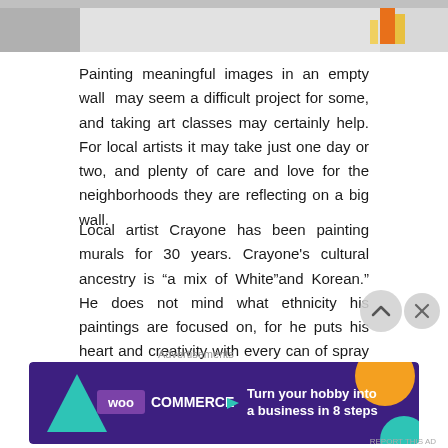[Figure (photo): Top portion of a photo showing a wall or ground surface with an orange cone/post visible at the right edge]
Painting meaningful images in an empty wall may seem a difficult project for some, and taking art classes may certainly help. For local artists it may take just one day or two, and plenty of care and love for the neighborhoods they are reflecting on a big wall.
Local artist Crayone has been painting murals for 30 years. Crayone’s cultural ancestry is “a mix of White”and Korean.” He does not mind what ethnicity his paintings are focused on, for he puts his heart and creativity with every can of spray he uses.
Advertisements
[Figure (screenshot): WooCommerce advertisement banner: purple/dark background with teal triangle, orange and teal blobs, WooCommerce logo with purple box, and text 'Turn your hobby into a business in 8 steps']